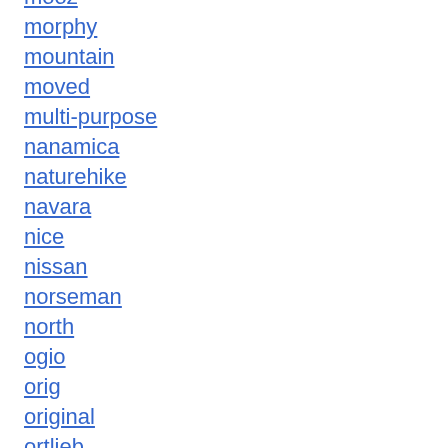mooz
morphy
mountain
moved
multi-purpose
nanamica
naturehike
navara
nice
nissan
norseman
north
ogio
orig
original
ortlieb
osprey